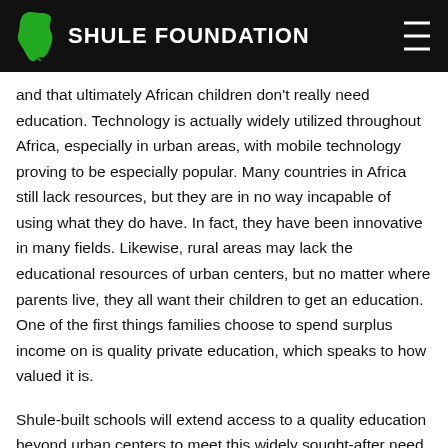SHULE FOUNDATION
and that ultimately African children don't really need education. Technology is actually widely utilized throughout Africa, especially in urban areas, with mobile technology proving to be especially popular. Many countries in Africa still lack resources, but they are in no way incapable of using what they do have. In fact, they have been innovative in many fields. Likewise, rural areas may lack the educational resources of urban centers, but no matter where parents live, they all want their children to get an education. One of the first things families choose to spend surplus income on is quality private education, which speaks to how valued it is.
Shule-built schools will extend access to a quality education beyond urban centers to meet this widely sought-after need.